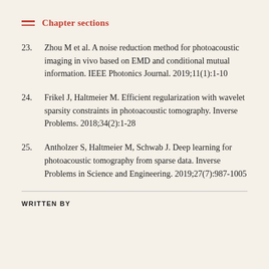Chapter sections
Zhou M et al. A noise reduction method for photoacoustic imaging in vivo based on EMD and conditional mutual information. IEEE Photonics Journal. 2019;11(1):1-10
Frikel J, Haltmeier M. Efficient regularization with wavelet sparsity constraints in photoacoustic tomography. Inverse Problems. 2018;34(2):1-28
Antholzer S, Haltmeier M, Schwab J. Deep learning for photoacoustic tomography from sparse data. Inverse Problems in Science and Engineering. 2019;27(7):987-1005
WRITTEN BY